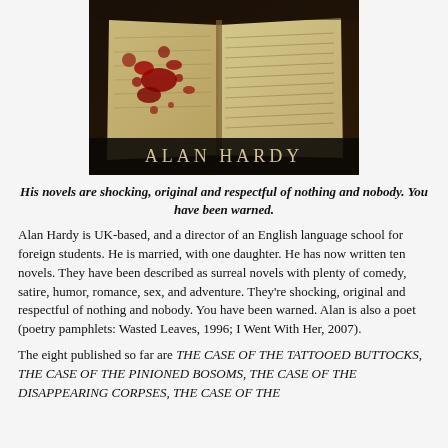[Figure (photo): Book cover showing an open book with blood splatters and the author name Alan Hardy displayed in serif font at the bottom]
His novels are shocking, original and respectful of nothing and nobody. You have been warned.
Alan Hardy is UK-based, and a director of an English language school for foreign students. He is married, with one daughter. He has now written ten novels. They have been described as surreal novels with plenty of comedy, satire, humor, romance, sex, and adventure. They're shocking, original and respectful of nothing and nobody. You have been warned. Alan is also a poet (poetry pamphlets: Wasted Leaves, 1996; I Went With Her, 2007).
The eight published so far are THE CASE OF THE TATTOOED BUTTOCKS, THE CASE OF THE PINIONED BOSOMS, THE CASE OF THE DISAPPEARING CORPSES, THE CASE OF THE